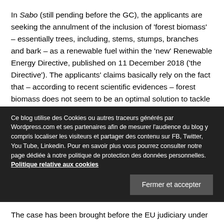In Sabo (still pending before the GC), the applicants are seeking the annulment of the inclusion of 'forest biomass' – essentially trees, including, stems, stumps, branches and bark – as a renewable fuel within the 'new' Renewable Energy Directive, published on 11 December 2018 ('the Directive'). The applicants' claims basically rely on the fact that – according to recent scientific evidences – forest biomass does not seem to be an optimal solution to tackle climate change. This since 'burning wood for energy puts more carbon in the atmosphere than burning fossil fuels, including coal; and the vast increase in industrial
Ce blog utilise des Cookies ou autres traceurs générés par Wordpress.com et ses partenaires afin de mesurer l'audience du blog y compris localiser les visiteurs et partager des contenu sur FB, Twitter, You Tube, Linkedin. Pour en savoir plus vous pourrez consulter notre page dédiée à notre politique de protection des données personnelles. Politique relative aux cookies
The case has been brought before the EU judiciary under